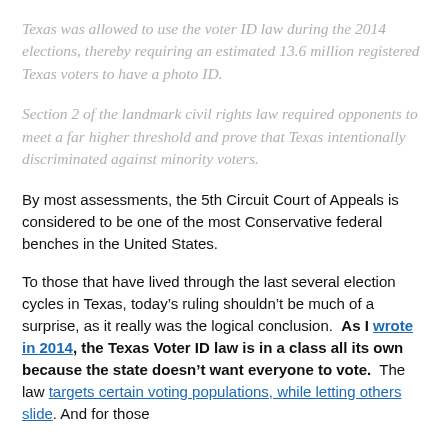Texas was allowed to use the voter ID law during the 2014 elections, thereby requiring an estimated 13.6 million registered Texas voters to have a photo ID.
Section 2 of the landmark civil rights law required opponents to meet a far higher threshold and prove that Texas intentionally discriminated against minority voters.
By most assessments, the 5th Circuit Court of Appeals is considered to be one of the most Conservative federal benches in the United States.
To those that have lived through the last several election cycles in Texas, today's ruling shouldn't be much of a surprise, as it really was the logical conclusion. As I wrote in 2014, the Texas Voter ID law is in a class all its own because the state doesn't want everyone to vote. The law targets certain voting populations, while letting others slide. And for those